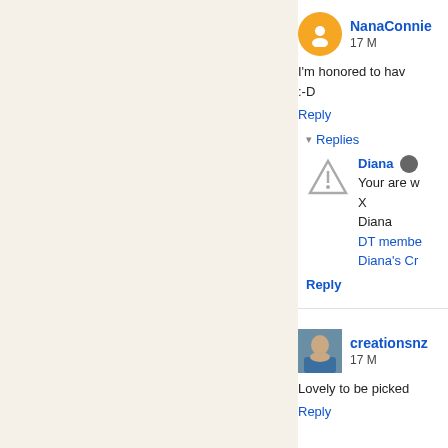NanaConnie  17 M
I'm honored to hav
:-D
Reply
▾ Replies
Diana
Your are w
X
Diana
DT membe
Diana's Cr
Reply
creationsnz  17 M
Lovely to be picked
Reply